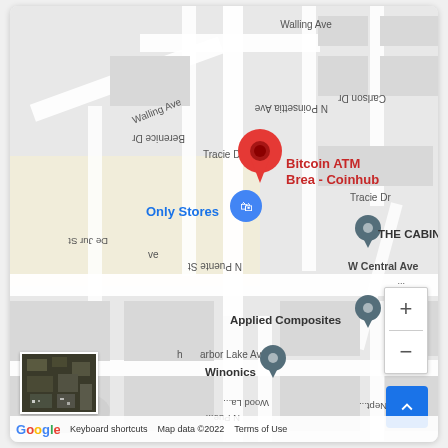[Figure (map): Google Maps screenshot showing Bitcoin ATM Brea - Coinhub location marker (red pin) near N Puente St and W Central Ave in Brea, CA. Nearby landmarks labeled include: Only Stores (blue pin), THE CABINET PROS (teal pin), Applied Composites (teal pin), Winonics (teal pin). Street labels: Walling Ave, Berenice Dr, N Poinsettia Ave, Carlson Dr, Tracie Dr, De Jur St, N Puente St, W Central Ave, Wood Lane, Harbor Lake Ave, Neptune. Map data copyright 2022 Google. Zoom controls (+/-) visible bottom right. Satellite thumbnail bottom left. Scroll-to-top blue button bottom right corner.]